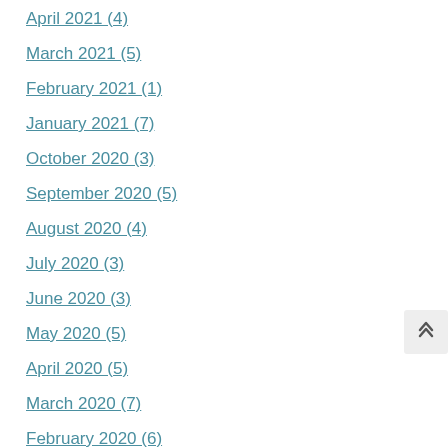April 2021 (4)
March 2021 (5)
February 2021 (1)
January 2021 (7)
October 2020 (3)
September 2020 (5)
August 2020 (4)
July 2020 (3)
June 2020 (3)
May 2020 (5)
April 2020 (5)
March 2020 (7)
February 2020 (6)
December 2019 (2)